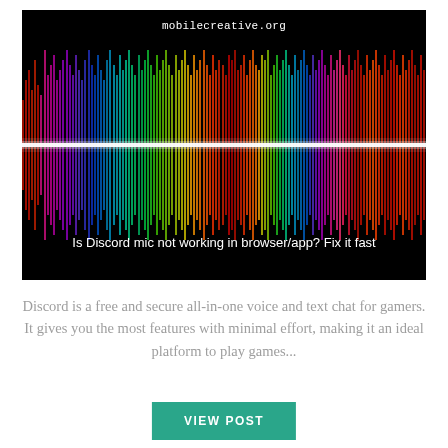[Figure (illustration): Dark background with a colorful audio waveform visualization spanning the full width. Colors transition from red on the left through magenta, purple, blue, cyan, green, yellow-green to orange-red on the right. A bright white horizontal line runs through the center. The website URL 'mobilecreative.org' appears at the top and the text 'Is Discord mic not working in browser/app? Fix it fast' appears near the bottom.]
Discord is a free and secure all-in-one voice and text chat for gamers. It gives you the most features with minimal effort, making it an ideal platform to play games...
VIEW POST